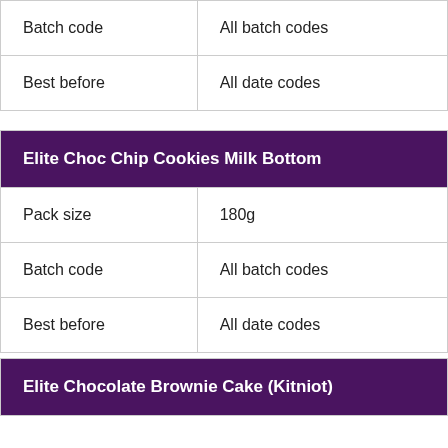| Batch code | All batch codes |
| Best before | All date codes |
| Elite Choc Chip Cookies Milk Bottom |
| --- |
| Pack size | 180g |
| Batch code | All batch codes |
| Best before | All date codes |
| Elite Chocolate Brownie Cake (Kitniot) |
| --- |